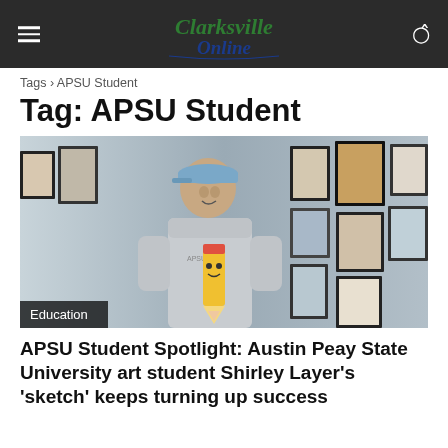Clarksville Online
Tags › APSU Student
Tag: APSU Student
[Figure (photo): A young woman wearing a blue cap and grey APSU hoodie, smiling and holding a cartoon pencil mascot, standing in front of framed artwork on gallery walls. Badge reads 'Education'.]
APSU Student Spotlight: Austin Peay State University art student Shirley Layer's 'sketch' keeps turning up success